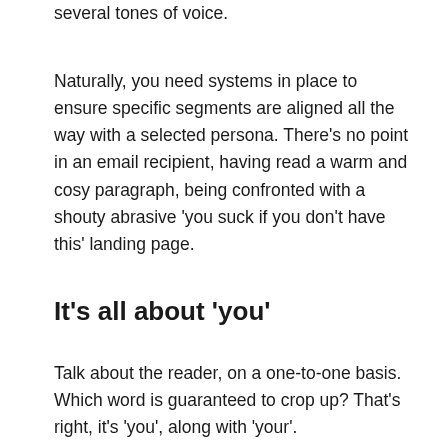several tones of voice.
Naturally, you need systems in place to ensure specific segments are aligned all the way with a selected persona. There’s no point in an email recipient, having read a warm and cosy paragraph, being confronted with a shouty abrasive ‘you suck if you don’t have this’ landing page.
It’s all about ‘you’
Talk about the reader, on a one-to-one basis. Which word is guaranteed to crop up? That’s right, it’s ‘you’, along with ‘your’.